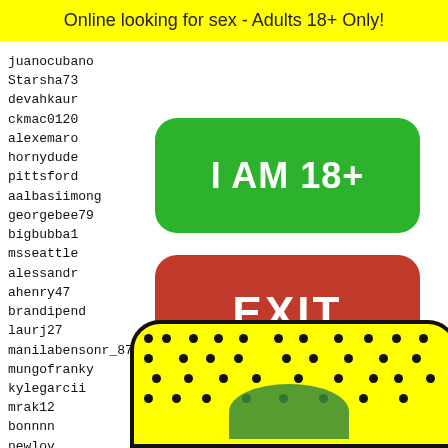Online looking for sex - Adults 18+ Only!
juanocubano
Starsha73
devahkaur
ckmac0120
alexemaro
hornydude
pittsford
aalbasiimong
georgebee79
bigbubba1
msseattle
alessandr
ahenry47
brandipend
laurj27
manilabensonr_87
mungofranky
kylegarcii
mrak12
bonnnn
newlov
balthu
cococa
dodo93
Wantmi
henry9
[Figure (other): Green button with text I AM 18+]
[Figure (other): Red button with text EXIT]
8216 8217 8218 8219 8220
[Figure (other): Snapchat ghost QR code on yellow background]